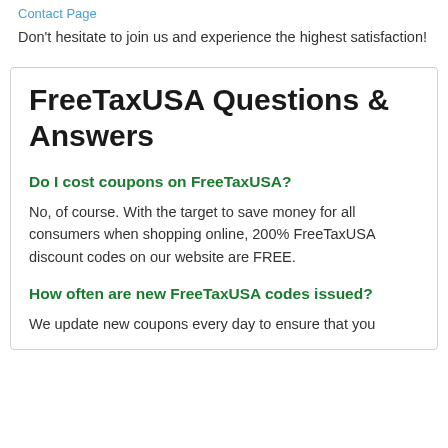Contact Page
Don't hesitate to join us and experience the highest satisfaction!
FreeTaxUSA Questions & Answers
Do I cost coupons on FreeTaxUSA?
No, of course. With the target to save money for all consumers when shopping online, 200% FreeTaxUSA discount codes on our website are FREE.
How often are new FreeTaxUSA codes issued?
We update new coupons every day to ensure that you